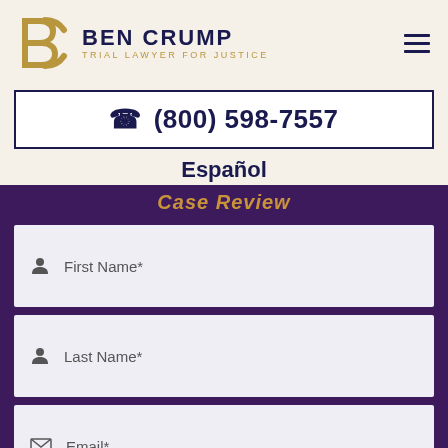[Figure (logo): Ben Crump Law logo with stylized BC letters in gold and dark navy text reading BEN CRUMP TRIAL LAWYER FOR JUSTICE]
☎ (800) 598-7557
Español
Case Review
First Name*
Last Name*
Email*
Phone*